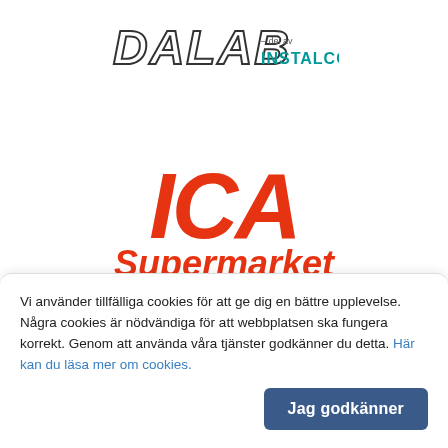[Figure (logo): DALAB – del av INSTALCO logo in italicized bold text with teal INSTALCO brand name]
[Figure (logo): ICA Supermarket Djurås logo: large red ICA letters, red italic Supermarket text, bold black Djurås text]
Vi använder tillfälliga cookies för att ge dig en bättre upplevelse. Några cookies är nödvändiga för att webbplatsen ska fungera korrekt. Genom att använda våra tjänster godkänner du detta. Här kan du läsa mer om cookies.